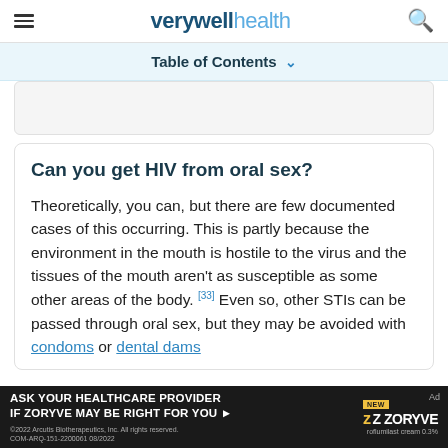verywell health
Table of Contents
Can you get HIV from oral sex?
Theoretically, you can, but there are few documented cases of this occurring. This is partly because the environment in the mouth is hostile to the virus and the tissues of the mouth aren't as susceptible as some other areas of the body. [33] Even so, other STIs can be passed through oral sex, but they may be avoided with condoms or dental dams
[Figure (screenshot): Advertisement banner for ZORYVE (roflumilast cream 0.3%) asking users to ask their healthcare provider if ZORYVE may be right for them.]